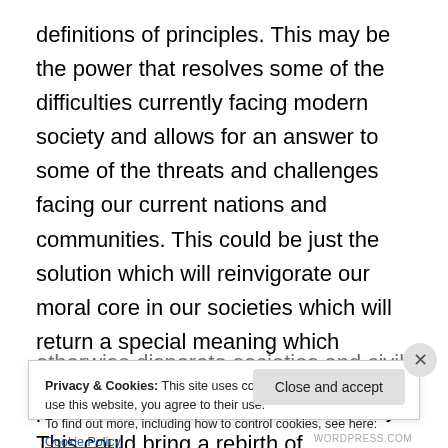definitions of principles. This may be the power that resolves some of the difficulties currently facing modern society and allows for an answer to some of the threats and challenges facing our current nations and communities. This could be just the solution which will reinvigorate our moral core in our societies which will return a special meaning which appears to be so lacking in so many places and interactions in our society. This could bring a rebirth of compassion, understanding and a morality which allows for a closer relationship between the otherwise disparate societies and civilisations at different
Privacy & Cookies: This site uses cookies. By continuing to use this website, you agree to their use.
To find out more, including how to control cookies, see here: Cookie Policy
Close and accept
WORDPRESS.COM